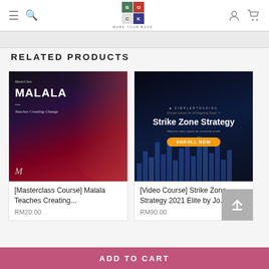MARK YOUR BOOK — navigation header with logo, hamburger, search, user and cart icons
RELATED PRODUCTS
[Figure (photo): MasterClass course thumbnail: Malala Teaches Creating Change — dark red/purple background with Malala portrait in red headscarf and MasterClass logo]
[Masterclass Course] Malala Teaches Creating...
RM20.00
[Figure (screenshot): Simpler Trading video course thumbnail: Strike Zone Strategy banner with dark blue financial chart background and orange ENROLL NOW button]
[Video Course] Strike Zone Strategy 2021 Elite by Jo...
RM90.00
ADD TO CART